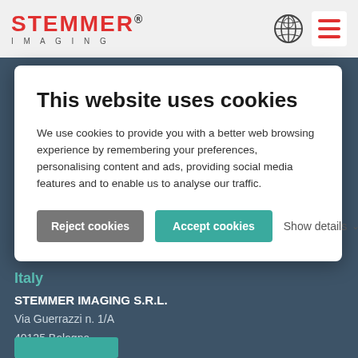[Figure (logo): STEMMER IMAGING logo in red with globe icon and hamburger menu icon]
This website uses cookies
We use cookies to provide you with a better web browsing experience by remembering your preferences, personalising content and ads, providing social media features and to enable us to analyse our traffic.
Reject cookies | Accept cookies | Show details
Italy
STEMMER IMAGING S.R.L.
Via Guerrazzi n. 1/A
40125 Bologna
Italy
Phone: +45 33 73 00 20